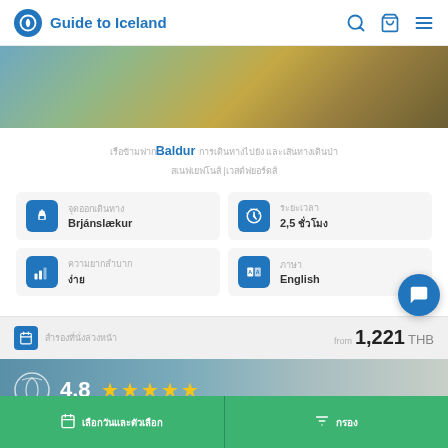Guide to Iceland
[Figure (photo): Rocky coastal landscape with blue sea and mossy cliffs]
เรือข้ามฟากBaldur การเดินทางไปยัง และเส้นทางเดินป่า สเนฟเยฟโนส์ |เวสต์ฟยอร์ดส์
จุดออกเดินทาง: Brjánslækur
ระยะเวลา: 2,5 ชั่วโมง
ความยากลำบาก: ง่าย
ภาษา: English
ราคาเริ่มต้น from 1,221 THB
[Figure (photo): Landscape with laurel wreath icon and star rating 4.8]
เลือกวันและตัวเลือก
กรอง